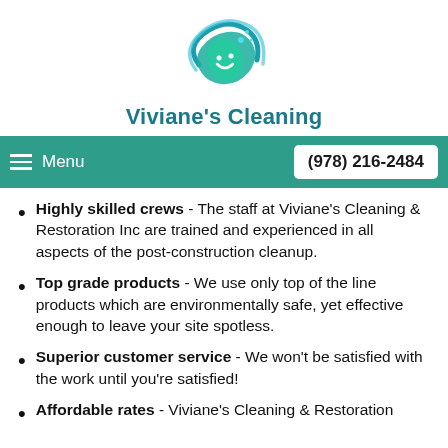[Figure (logo): Viviane's Cleaning logo — a circular design with blue water waves and green leaf element with sparkle dots]
Viviane's Cleaning
Menu  (978) 216-2484
Highly skilled crews - The staff at Viviane's Cleaning & Restoration Inc are trained and experienced in all aspects of the post-construction cleanup.
Top grade products - We use only top of the line products which are environmentally safe, yet effective enough to leave your site spotless.
Superior customer service - We won't be satisfied with the work until you're satisfied!
Affordable rates - Viviane's Cleaning & Restoration